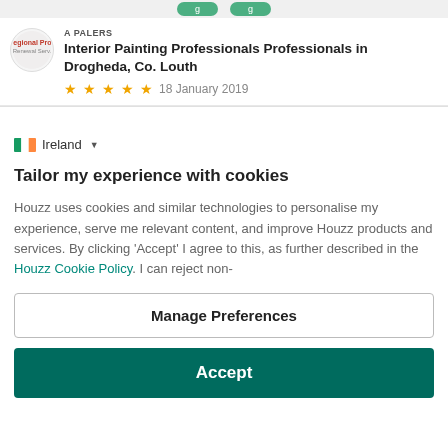Interior Painting Professionals Professionals in Drogheda, Co. Louth
18 January 2019
Ireland
Tailor my experience with cookies
Houzz uses cookies and similar technologies to personalise my experience, serve me relevant content, and improve Houzz products and services. By clicking 'Accept' I agree to this, as further described in the Houzz Cookie Policy. I can reject non-
Manage Preferences
Accept